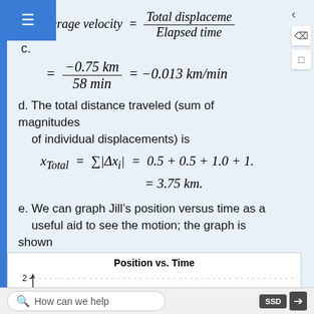d. The total distance traveled (sum of magnitudes of individual displacements) is
e. We can graph Jill’s position versus time as a useful aid to see the motion; the graph is shown in Figure 4.2.4.
[Figure (line-chart): Partial view of a position vs. time graph, y-axis shows value 2]
How can we help